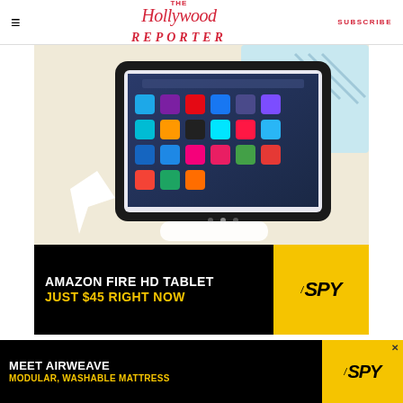The Hollywood Reporter | SUBSCRIBE
[Figure (photo): Amazon Fire HD tablet promotional image showing tablet with apps on screen, colorful background]
[Figure (infographic): Amazon Fire HD Tablet Just $45 Right Now - SPY advertisement banner, black and yellow]
[Figure (logo): PMC logo]
MOST POPULAR
[Figure (logo): SheKnows logo]
[Figure (infographic): Meet Airweave Modular Washable Mattress - SPY advertisement banner, black and yellow, bottom overlay]